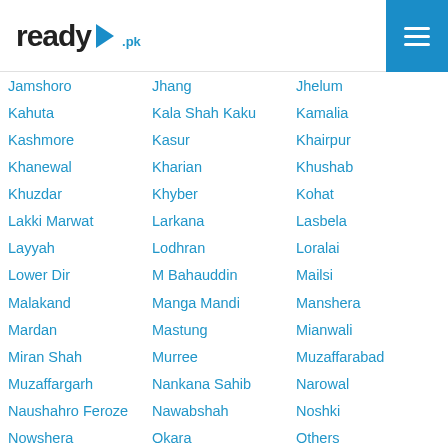ready.pk
Jamshoro
Jhang
Jhelum
Kahuta
Kala Shah Kaku
Kamalia
Kashmore
Kasur
Khairpur
Khanewal
Kharian
Khushab
Khuzdar
Khyber
Kohat
Lakki Marwat
Larkana
Lasbela
Layyah
Lodhran
Loralai
Lower Dir
M Bahauddin
Mailsi
Malakand
Manga Mandi
Manshera
Mardan
Mastung
Mianwali
Miran Shah
Murree
Muzaffarabad
Muzaffargarh
Nankana Sahib
Narowal
Naushahro Feroze
Nawabshah
Noshki
Nowshera
Okara
Others
Pak Pattan
Pano Aqil
Quetta
Rahim Yar Khan
Raiwind
Rajanpur